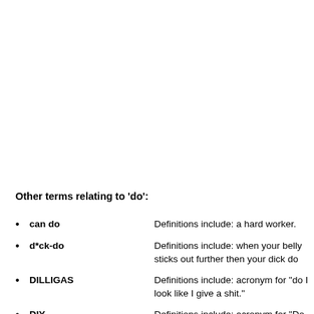Other terms relating to 'do':
can do — Definitions include: a hard worker.
d*ck-do — Definitions include: when your belly sticks out further then your dick do
DILLIGAS — Definitions include: acronym for "do I look like I give a shit."
DIY — Definitions include: acronym for "Do It